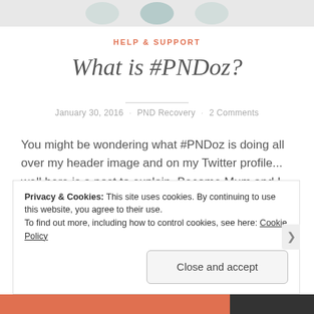[Figure (illustration): Partial cropped top of a website page showing decorative circular avatar images]
HELP & SUPPORT
What is #PNDoz?
January 30, 2016  ·  PND Recovery  ·  2 Comments
You might be wondering what #PNDoz is doing all over my header image and on my Twitter profile... well here is a post to explain. Become Mum and I are two mothers in Australia who have been diagnosed with Postnatal Depression. We found each other on Twitter and linked in with the lovely people using...
Privacy & Cookies: This site uses cookies. By continuing to use this website, you agree to their use.
To find out more, including how to control cookies, see here: Cookie Policy
Close and accept